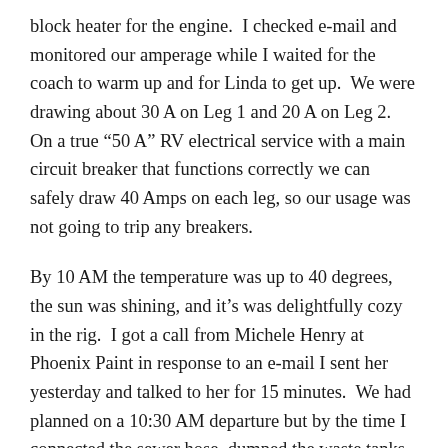block heater for the engine.  I checked e-mail and monitored our amperage while I waited for the coach to warm up and for Linda to get up.  We were drawing about 30 A on Leg 1 and 20 A on Leg 2.  On a true “50 A” RV electrical service with a main circuit breaker that functions correctly we can safely draw 40 Amps on each leg, so our usage was not going to trip any breakers.
By 10 AM the temperature was up to 40 degrees, the sun was shining, and it’s was delightfully cozy in the rig.  I got a call from Michele Henry at Phoenix Paint in response to an e-mail I sent her yesterday and talked to her for 15 minutes.  We had planned on a 10:30 AM departure but by the time I connected the sewer hose, dumped the waste tanks, and put the hose away it was 10:45.  We had the bus and car ready to travel by 11AM and pulled out of our site.  We had to wait for a few minutes until someone moved a 5th wheel which they had temporarily parked in the middle of a two-way road while waiting to get into their site.  We finally made our way out of